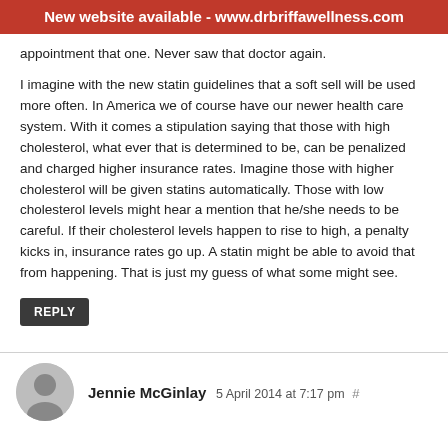New website available - www.drbriffawellness.com
appointment that one. Never saw that doctor again.

I imagine with the new statin guidelines that a soft sell will be used more often. In America we of course have our newer health care system. With it comes a stipulation saying that those with high cholesterol, what ever that is determined to be, can be penalized and charged higher insurance rates. Imagine those with higher cholesterol will be given statins automatically. Those with low cholesterol levels might hear a mention that he/she needs to be careful. If their cholesterol levels happen to rise to high, a penalty kicks in, insurance rates go up. A statin might be able to avoid that from happening. That is just my guess of what some might see.
REPLY
Jennie McGinlay 5 April 2014 at 7:17 pm #